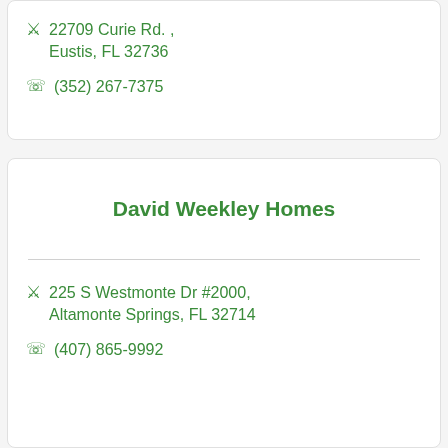22709 Curie Rd. , Eustis, FL 32736
(352) 267-7375
David Weekley Homes
225 S Westmonte Dr #2000, Altamonte Springs, FL 32714
(407) 865-9992